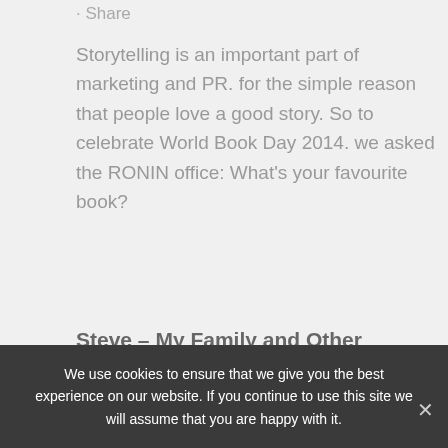· Share
Storytelling is an important part of marketing and PR. for the simple reason that people love a good story. So to celebrate World Book Day 2014. we asked the RONIN office: What's your favourite book?
Steve – My Family and Other Animals by Gerald Durrell
[Figure (other): Partially visible image placeholder with document icon]
We use cookies to ensure that we give you the best experience on our website. If you continue to use this site we will assume that you are happy with it.